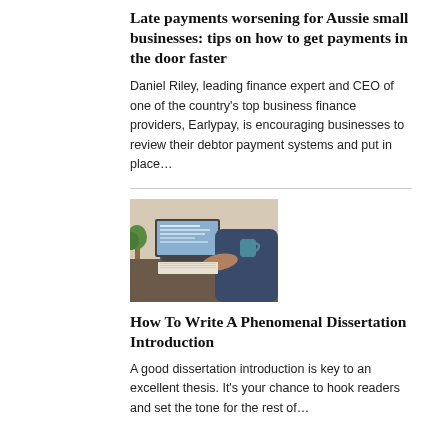Late payments worsening for Aussie small businesses: tips on how to get payments in the door faster
Daniel Riley, leading finance expert and CEO of one of the country's top business finance providers, Earlypay, is encouraging businesses to review their debtor payment systems and put in place…
[Figure (photo): Person working on a laptop at a desk, viewed from the side, with a plant and mug in the background]
How To Write A Phenomenal Dissertation Introduction
A good dissertation introduction is key to an excellent thesis. It's your chance to hook readers and set the tone for the rest of…